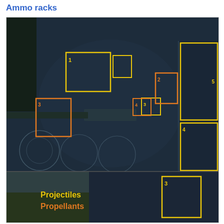Ammo racks
[Figure (screenshot): Two-panel diagram of a tank interior showing ammunition rack locations. Top panel is an x-ray/cross-section view of a tank with numbered yellow boxes indicating projectile locations and orange boxes indicating propellant locations. Bottom panel shows an interior view of the tank with text labels 'Projectiles' in yellow and 'Propellants' in orange, with numbered boxes marking specific ammo rack positions. A legend in the bottom panel shows yellow = Projectiles, orange = Propellants.]